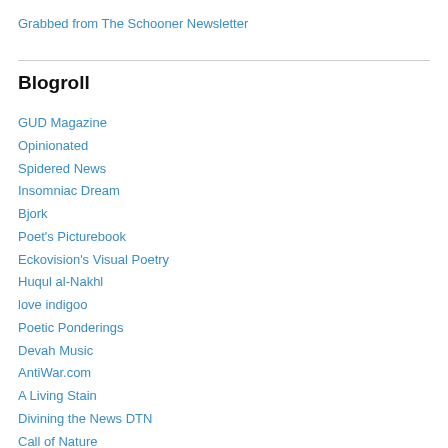Grabbed from The Schooner Newsletter
Blogroll
GUD Magazine
Opinionated
Spidered News
Insomniac Dream
Bjork
Poet's Picturebook
Eckovision's Visual Poetry
Huqul al-Nakhl
love indigoo
Poetic Ponderings
Devah Music
AntiWar.com
A Living Stain
Divining the News DTN
Call of Nature